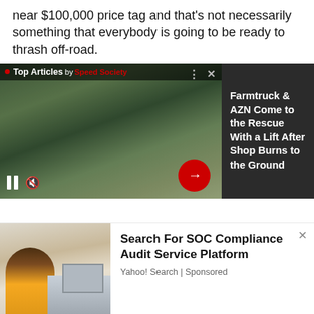near $100,000 price tag and that's not necessarily something that everybody is going to be ready to thrash off-road.
[Figure (screenshot): Top Articles widget by Speed Society showing video player with two people in a junkyard setting, pause and mute controls, red arrow button, and headline: Farmtruck & AZN Come to the Rescue With a Lift After Shop Burns to the Ground]
[Figure (screenshot): Advertisement for 'Search For SOC Compliance Audit Service Platform' by Yahoo! Search | Sponsored, with image of woman working at computer desk]